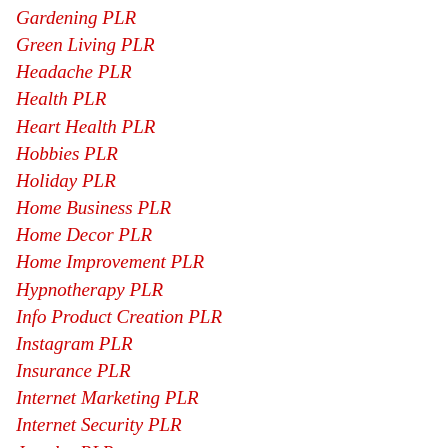Gardening PLR
Green Living PLR
Headache PLR
Health PLR
Heart Health PLR
Hobbies PLR
Holiday PLR
Home Business PLR
Home Decor PLR
Home Improvement PLR
Hypnotherapy PLR
Info Product Creation PLR
Instagram PLR
Insurance PLR
Internet Marketing PLR
Internet Security PLR
Jewelry PLR
Jobs PLR
Kids PLR
Kindle PLR